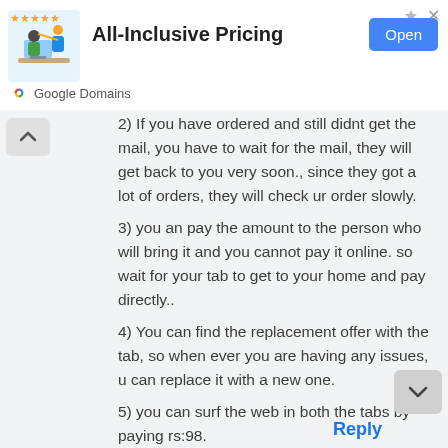[Figure (screenshot): Ad banner for Google Domains showing 'All-Inclusive Pricing' with an Open button, star rating, and illustration of a person at a computer with another person styling their hair.]
2) If you have ordered and still didnt get the mail, you have to wait for the mail, they will get back to you very soon., since they got a lot of orders, they will check ur order slowly.
3) you an pay the amount to the person who will bring it and you cannot pay it online. so wait for your tab to get to your home and pay directly..
4) You can find the replacement offer with the tab, so when ever you are having any issues, u can replace it with a new one.
5) you can surf the web in both the tabs by paying rs:98.
6) There are no discounts in the above tabs..